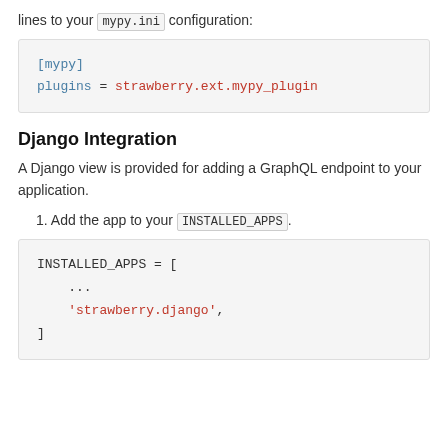lines to your mypy.ini configuration:
[mypy]
plugins = strawberry.ext.mypy_plugin
Django Integration
A Django view is provided for adding a GraphQL endpoint to your application.
1. Add the app to your INSTALLED_APPS.
INSTALLED_APPS = [
    ...
    'strawberry.django',
]